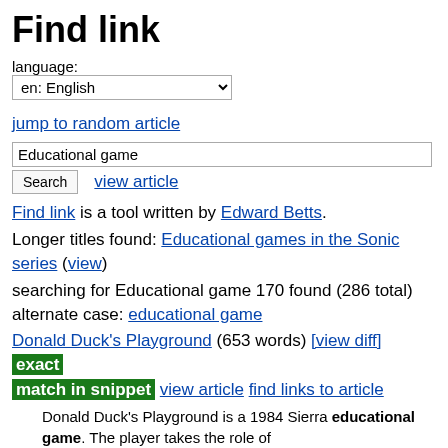Find link
language:
en: English
jump to random article
Educational game
Search   view article
Find link is a tool written by Edward Betts.
Longer titles found: Educational games in the Sonic series (view)
searching for Educational game 170 found (286 total)
alternate case: educational game
Donald Duck's Playground (653 words) [view diff] exact match in snippet view article find links to article
Donald Duck's Playground is a 1984 Sierra educational game. The player takes the role of